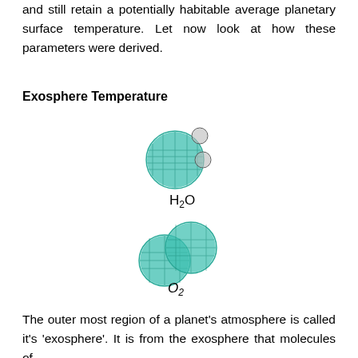and still retain a potentially habitable average planetary surface temperature. Let now look at how these parameters were derived.
Exosphere Temperature
[Figure (illustration): Two molecular diagrams: top shows H2O molecule (one large teal oxygen atom with two small grey hydrogen atoms), bottom shows O2 molecule (two teal oxygen atoms bonded together). Labels H2O and O2 are shown beneath each molecule.]
The outer most region of a planet's atmosphere is called it's 'exosphere'. It is from the exosphere that molecules of